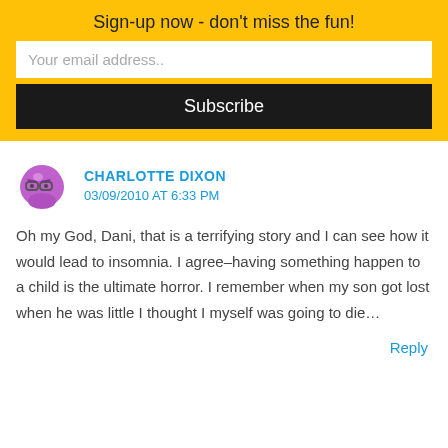Sign-up now - don't miss the fun!
Your email address..
Subscribe
CHARLOTTE DIXON
03/09/2010 AT 6:33 PM
Oh my God, Dani, that is a terrifying story and I can see how it would lead to insomnia. I agree–having something happen to a child is the ultimate horror. I remember when my son got lost when he was little I thought I myself was going to die…
Reply